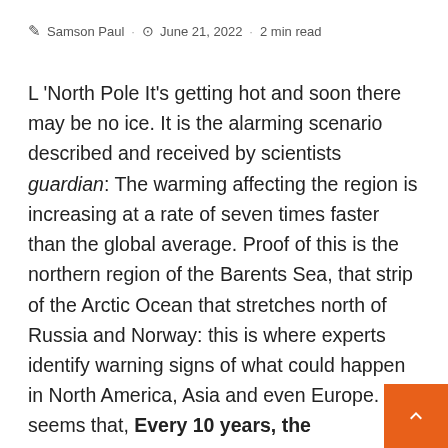Samson Paul · June 21, 2022 · 2 min read
L 'North Pole It's getting hot and soon there may be no ice. It is the alarming scenario described and received by scientists guardian: The warming affecting the region is increasing at a rate of seven times faster than the global average. Proof of this is the northern region of the Barents Sea, that strip of the Arctic Ocean that stretches north of Russia and Norway: this is where experts identify warning signs of what could happen in North America, Asia and even Europe. It seems that, Every 10 years, the temperature in this part of the sea rises by 2.7 ° C, a peak of 4 degrees in the fall mo... The data that led researchers from the Norwegian Meteorological Institute to predict the risks of "extreme